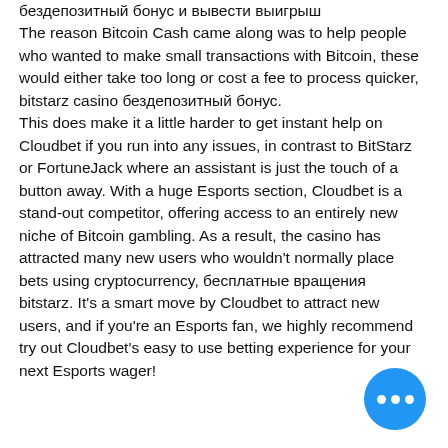бездепозитный бонус и вывести выигрыш The reason Bitcoin Cash came along was to help people who wanted to make small transactions with Bitcoin, these would either take too long or cost a fee to process quicker, bitstarz casino бездепозитный бонус. This does make it a little harder to get instant help on Cloudbet if you run into any issues, in contrast to BitStarz or FortuneJack where an assistant is just the touch of a button away. With a huge Esports section, Cloudbet is a stand-out competitor, offering access to an entirely new niche of Bitcoin gambling. As a result, the casino has attracted many new users who wouldn't normally place bets using cryptocurrency, бесплатные вращения bitstarz. It's a smart move by Cloudbet to attract new users, and if you're an Esports fan, we highly recommend try out Cloudbet's easy to use betting experience for your next Esports wager!